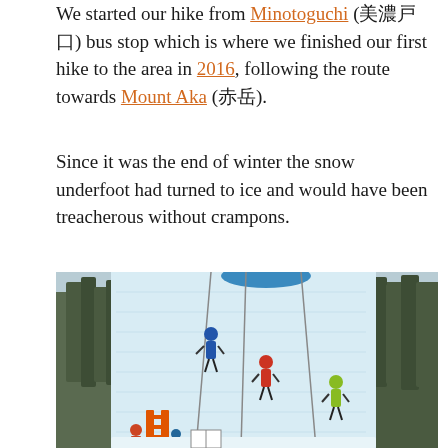We started our hike from Minotoguchi (美濃戸口) bus stop which is where we finished our first hike to the area in 2016, following the route towards Mount Aka (赤岳).
Since it was the end of winter the snow underfoot had turned to ice and would have been treacherous without crampons.
[Figure (photo): Photo of people ice climbing on a large frozen ice wall in a forested winter setting. Several climbers are on the ice face with ropes, wearing colorful winter gear. An orange ladder and other equipment are visible at the base.]